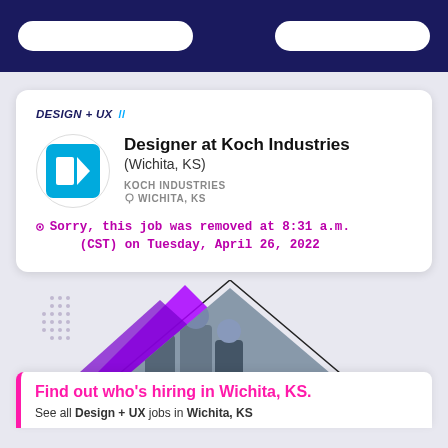DESIGN + UX //
Designer at Koch Industries (Wichita, KS)
KOCH INDUSTRIES
WICHITA, KS
Sorry, this job was removed at 8:31 a.m. (CST) on Tuesday, April 26, 2022
[Figure (photo): Decorative image with purple triangles and a photo of people working]
Find out who's hiring in Wichita, KS.
See all Design + UX jobs in Wichita, KS